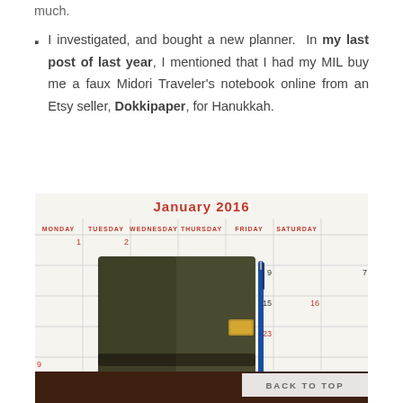much.
I investigated, and bought a new planner. In my last post of last year, I mentioned that I had my MIL buy me a faux Midori Traveler's notebook online from an Etsy seller, Dokkipaper, for Hanukkah.
[Figure (photo): Photo of a dark olive/brown leather Midori Traveler's notebook placed on top of a January 2016 wall calendar. The calendar shows days of the week (Monday through Saturday) and dates including 1, 2, 7, 8, 9, 14, 15, 16, 21, 22, 23, 28, 29, 30, 26. A blue pen is visible tucked into the notebook's band. The calendar has red day-of-week headers and black/red date numbers. A 'BACK TO TOP' button overlay appears in the lower right of the image.]